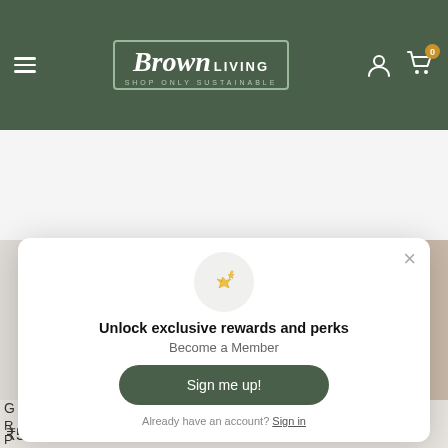[Figure (screenshot): Brown Living e-commerce website header with logo, hamburger menu, user icon, cart icon with badge showing 0]
[Figure (screenshot): Search bar with Search... placeholder text and orange search button]
Filter   Sort by   (grid/list view icons)
Unlock exclusive rewards and perks
Become a Member
Sign me up!
Already have an account? Sign in